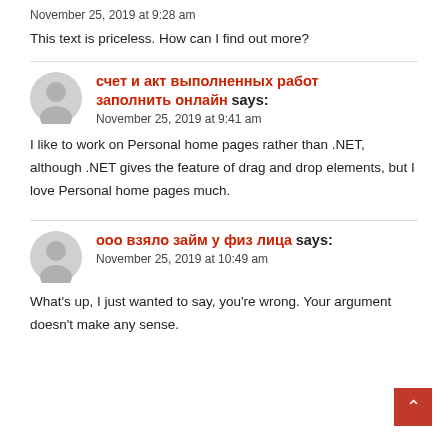November 25, 2019 at 9:28 am
This text is priceless. How can I find out more?
счет и акт выполненных работ заполнить онлайн says:
November 25, 2019 at 9:41 am
I like to work on Personal home pages rather than .NET, although .NET gives the feature of drag and drop elements, but I love Personal home pages much.
ооо взяло займ у физ лица says:
November 25, 2019 at 10:49 am
What's up, I just wanted to say, you're wrong. Your argument doesn't make any sense.